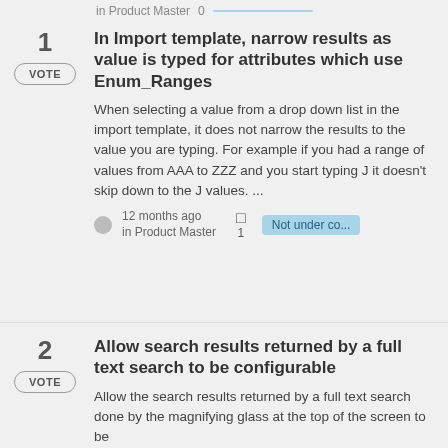in Product Master   0
1 VOTE — In Import template, narrow results as value is typed for attributes which use Enum_Ranges — When selecting a value from a drop down list in the import template, it does not narrow the results to the value you are typing. For example if you had a range of values from AAA to ZZZ and you start typing J it doesn't skip down to the J values. ... — 12 months ago in Product Master — 1 — Not under co...
2 VOTE — Allow search results returned by a full text search to be configurable — Allow the search results returned by a full text search done by the magnifying glass at the top of the screen to be